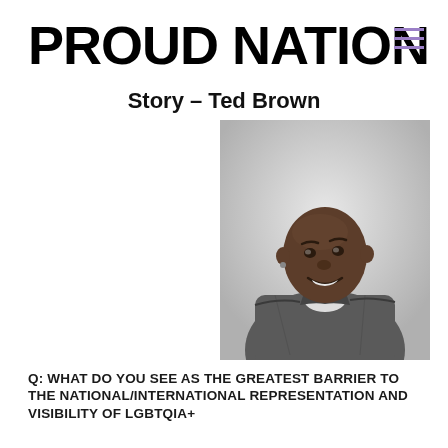PROUD NATION
Story – Ted Brown
[Figure (photo): Black and white portrait photograph of Ted Brown, a Black person with a shaved head wearing a denim jacket, smiling and looking slightly upward. They are photographed against a light background.]
Q: WHAT DO YOU SEE AS THE GREATEST BARRIER TO THE NATIONAL/INTERNATIONAL REPRESENTATION AND VISIBILITY OF LGBTQIA+